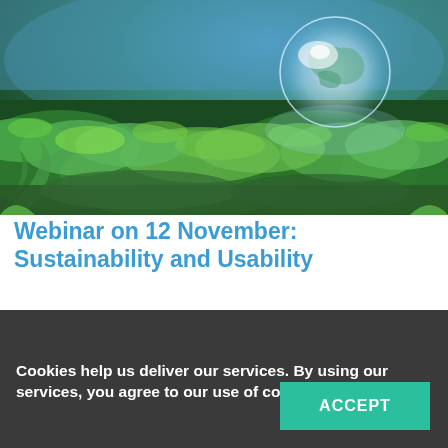[Figure (photo): A nature scene with lush green foliage, moss, and a crystal glass globe in the upper right representing the Earth, suggesting sustainability and environmental themes.]
Webinar on 12 November: Sustainability and Usability
[Figure (screenshot): Partial view of a dark navigation bar with blue elements, partially obscured by cookie consent overlay.]
Cookies help us deliver our services. By using our services, you agree to our use of cookies Learn more
ACCEPT